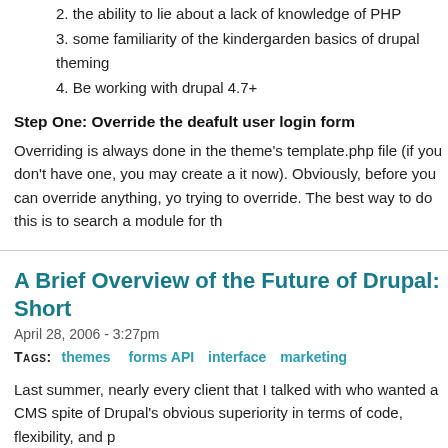2. the ability to lie about a lack of knowledge of PHP
3. some familiarity of the kindergarden basics of drupal theming
4. Be working with drupal 4.7+
Step One: Override the deafult user login form
Overriding is always done in the theme's template.php file (if you don't have one, you may create a it now). Obviously, before you can override anything, you need to know what you're trying to override. The best way to do this is to search a module for th
A Brief Overview of the Future of Drupal: Short
April 28, 2006 - 3:27pm
Tags: themes  forms API  interface  marketing
Last summer, nearly every client that I talked with who wanted a CMS spite of Drupal's obvious superiority in terms of code, flexibility, and p
I was forced to conclude that Drupal's biggest weakness was the first about 2 minutes looking at drupal.org, and Mambo's homepage, and